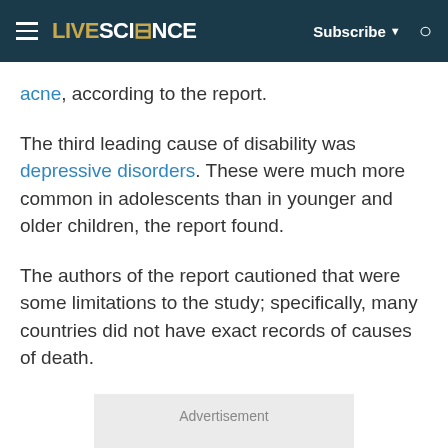LIVESCIENCE | Subscribe | Search
acne, according to the report.
The third leading cause of disability was depressive disorders. These were much more common in adolescents than in younger and older children, the report found.
The authors of the report cautioned that were some limitations to the study; specifically, many countries did not have exact records of causes of death.
[Figure (other): Advertisement placeholder box]